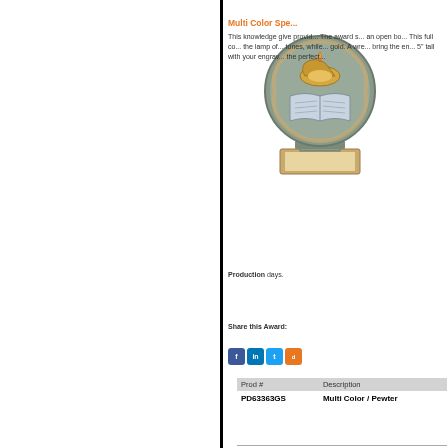[Figure (photo): Trophy award featuring lamp of knowledge, open book, and wreath design with pewter and gold coloring on a rectangular base]
Multi Color Spe...
This knowledge give provid... The award s... an open bo... This full co... the lamp of... tones, while... gold. A wre... bring the en... 5" tall with your engrav... the perfect...
Production days.
Share this Award:
| Prod # | Description |
| --- | --- |
| PD63363GS | Multi Color / Pewter |